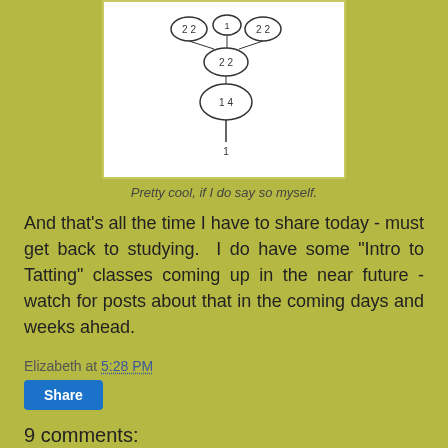[Figure (illustration): Tatting pattern diagram showing numbered nodes and ovals representing stitches, arranged in a flower-like pattern on a white background]
Pretty cool, if I do say so myself.
And that's all the time I have to share today - must get back to studying.  I do have some "Intro to Tatting" classes coming up in the near future - watch for posts about that in the coming days and weeks ahead.
Elizabeth at 5:28 PM
Share
9 comments:
Fox August 27, 2011 at 7:24 PM
Hi, Elizabeth! So good to see a post from you, my main